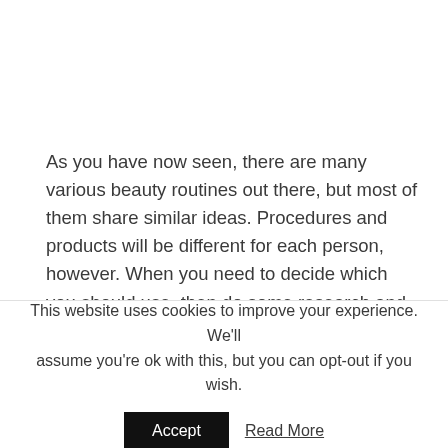As you have now seen, there are many various beauty routines out there, but most of them share similar ideas. Procedures and products will be different for each person, however. When you need to decide which you should use, then do some research and use your common sense to get those that will work best for you, those that you can work with skillfully and ones that fit into your budget.
More from my site
This website uses cookies to improve your experience. We'll assume you're ok with this, but you can opt-out if you wish.